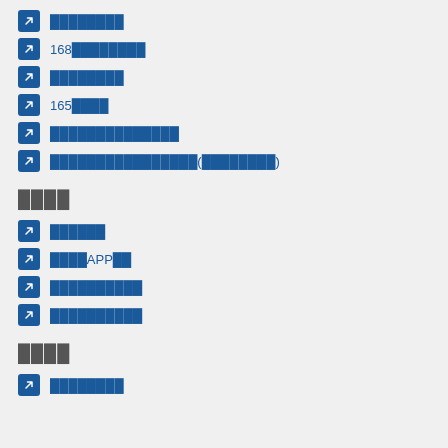████████
168████████
████████
165████
██████████████
████████████████(████████)
████
██████
████APP██
██████████
██████████
████
████████